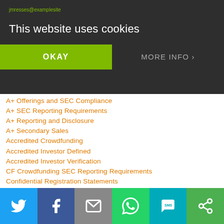This website uses cookies
A+ Offerings and SEC Compliance
A+ SEC Reporting Requirements
A+ Reporting and Disclosure
A+ Secondary Sales
Accredited Crowdfunding
Accredited Investor Defined
Accredited Investor Verification
CF Crowdfunding SEC Reporting Requirements
Confidential Registration Statements
Control Person and Control Securities
Coronavirus - COVID-19
Coronavirus, SEC Extensions and Disclosures
Crowdfunding During Coronavirus - COVID-19
Corporate Hijackings
Crowdfunding
Crowdfunding Portals and Platforms
Direct Public Offering
Direct Public Offering Attorneys
Direct Public Offering SEC Reporting